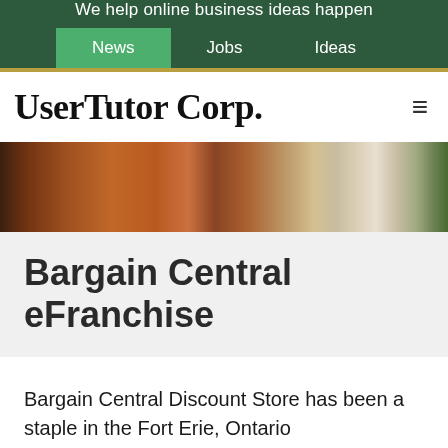We help online business ideas happen
News  Jobs  Ideas
UserTutor Corp.
[Figure (photo): Interior photo of a conference or meeting room with warm wood-paneled walls and seating, with bright window light on the right side.]
Bargain Central eFranchise
Bargain Central Discount Store has been a staple in the Fort Erie, Ontario